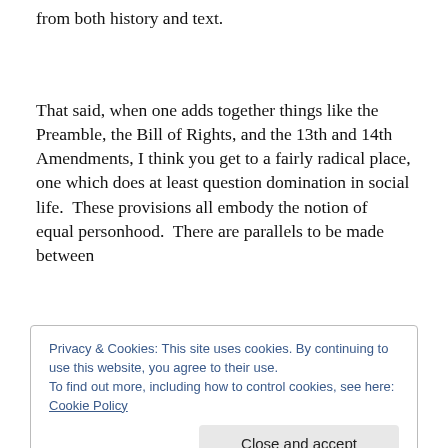from both history and text.
That said, when one adds together things like the Preamble, the Bill of Rights, and the 13th and 14th Amendments, I think you get to a fairly radical place, one which does at least question domination in social life.  These provisions all embody the notion of  equal personhood.  There are parallels to be made between
Privacy & Cookies: This site uses cookies. By continuing to use this website, you agree to their use.
To find out more, including how to control cookies, see here: Cookie Policy
and various movements of liberation.  Challenging the